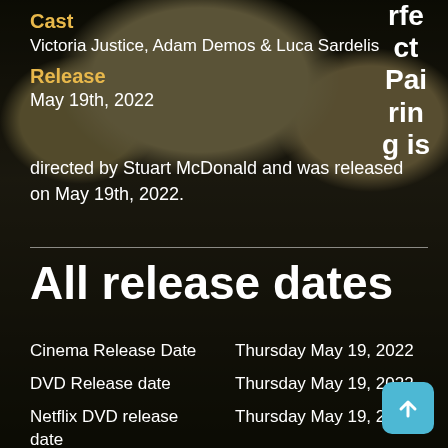[Figure (photo): Background photo showing a person sitting with a sheep/lamb in a grassy field, dark overlay applied]
rfe ct Pai rin g is
Cast
Victoria Justice, Adam Demos & Luca Sardelis
Release
May 19th, 2022
directed by Stuart McDonald and was released on May 19th, 2022.
All release dates
|  |  |
| --- | --- |
| Cinema Release Date | Thursday May 19, 2022 |
| DVD Release date | Thursday May 19, 2022 |
| Netflix DVD release date | Thursday May 19, 2022 |